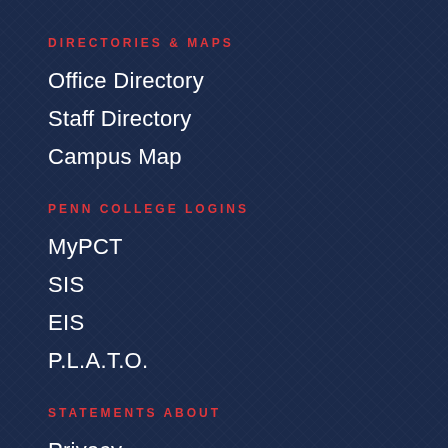DIRECTORIES & MAPS
Office Directory
Staff Directory
Campus Map
PENN COLLEGE LOGINS
MyPCT
SIS
EIS
P.L.A.T.O.
STATEMENTS ABOUT
Privacy
Accessibility
Nondiscrimination